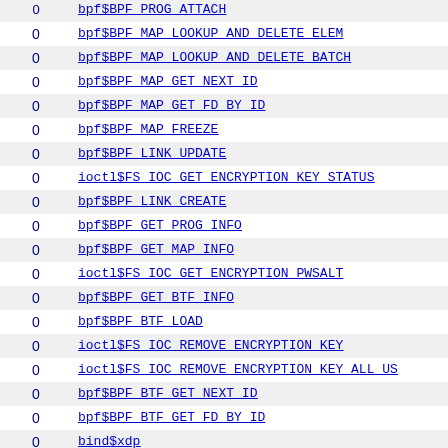|  |  |
| --- | --- |
| 0 | bpf$BPF_PROG_ATTACH |
| 0 | bpf$BPF_MAP_LOOKUP_AND_DELETE_ELEM |
| 0 | bpf$BPF_MAP_LOOKUP_AND_DELETE_BATCH |
| 0 | bpf$BPF_MAP_GET_NEXT_ID |
| 0 | bpf$BPF_MAP_GET_FD_BY_ID |
| 0 | bpf$BPF_MAP_FREEZE |
| 0 | bpf$BPF_LINK_UPDATE |
| 0 | ioctl$FS_IOC_GET_ENCRYPTION_KEY_STATUS |
| 0 | bpf$BPF_LINK_CREATE |
| 0 | bpf$BPF_GET_PROG_INFO |
| 0 | bpf$BPF_GET_MAP_INFO |
| 0 | ioctl$FS_IOC_GET_ENCRYPTION_PWSALT |
| 0 | bpf$BPF_GET_BTF_INFO |
| 0 | bpf$BPF_BTF_LOAD |
| 0 | ioctl$FS_IOC_REMOVE_ENCRYPTION_KEY |
| 0 | ioctl$FS_IOC_REMOVE_ENCRYPTION_KEY_ALL_US |
| 0 | bpf$BPF_BTF_GET_NEXT_ID |
| 0 | bpf$BPF_BTF_GET_FD_BY_ID |
| 0 | bind$xdp |
| 0 | bind$x25 |
| 0 | ioctl$FS_IOC_SET_ENCRYPTION_POLICY |